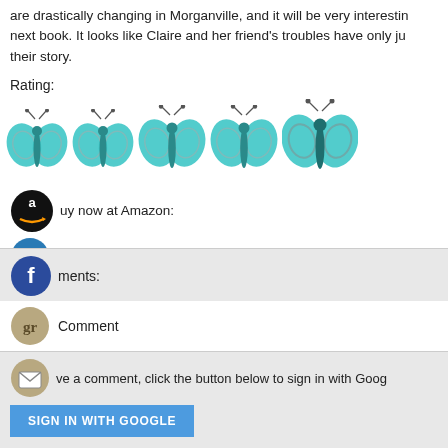are drastically changing in Morganville, and it will be very interesting to see what happens in the next book. It looks like Claire and her friend's troubles have only just begun. I can't wait to read their story.
Rating:
[Figure (illustration): Five teal/blue decorative butterfly icons used as a 5-star rating system]
Buy now at Amazon:
Feast of Fools (Morganville Vampires, Book 4)
Comments:
Comment
To leave a comment, click the button below to sign in with Google.
SIGN IN WITH GOOGLE